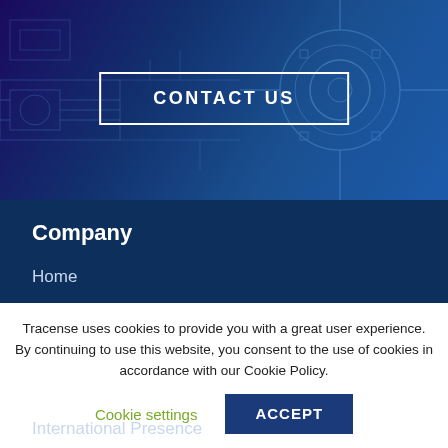[Figure (illustration): Hero banner with blue-toned engineering/circuit diagram background illustration]
CONTACT US
Company
Home
About Us
Technology
Products
International Presence
Tracense uses cookies to provide you with a great user experience. By continuing to use this website, you consent to the use of cookies in accordance with our Cookie Policy.
Cookie settings
ACCEPT